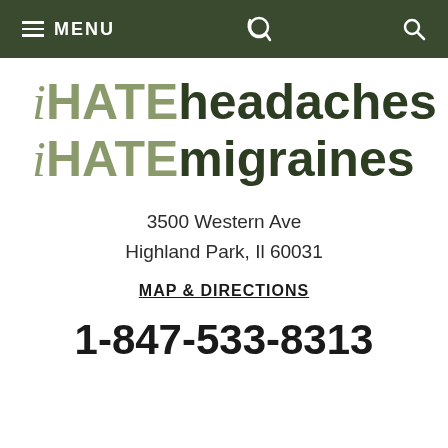MENU | phone | search
iHATEheadaches iHATEmigraines
3500 Western Ave
Highland Park, Il 60031
MAP & DIRECTIONS
1-847-533-8313